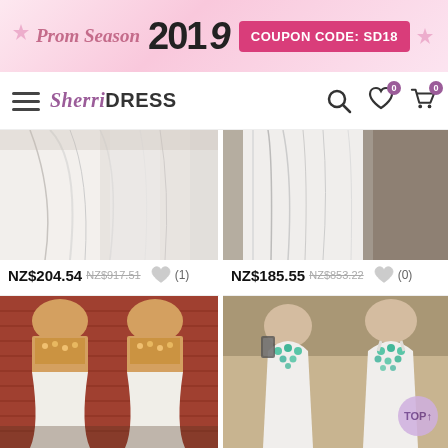[Figure (screenshot): Prom Season 2019 promotional banner with pink gradient background and coupon code SD18]
[Figure (screenshot): SherriDress website navigation bar with logo, hamburger menu, search, wishlist and cart icons]
[Figure (photo): White flowing dress fabric product photo (top cropped)]
NZ$204.54 NZ$917.51 (1)
[Figure (photo): White dress back view product photo (top cropped)]
NZ$185.55 NZ$853.22 (0)
[Figure (photo): Gold sequin two-piece prom dress with white skirt, shown from front]
[Figure (photo): White prom gown with teal/turquoise gem embellishments shown front and back]